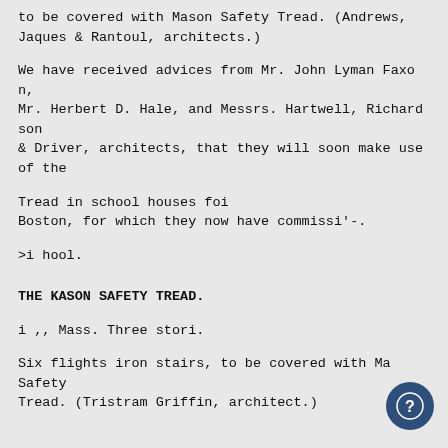to be covered with Mason Safety Tread. (Andrews, Jaques & Rantoul, architects.)
We have received advices from Mr. John Lyman Faxon,
Mr. Herbert D. Hale, and Messrs. Hartwell, Richardson
& Driver, architects, that they will soon make use of the
Tread in school houses foi
Boston, for which they now have commissi'-.
>i hool.
THE KASON SAFETY TREAD.
i ,, Mass. Three stori.
Six flights iron stairs, to be covered with Mason Safety
Tread. (Tristram Griffin, architect.)